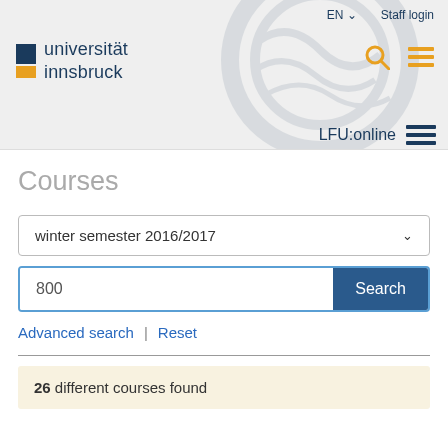[Figure (screenshot): Universität Innsbruck website header with logo, EN language selector, Staff login link, search icon, hamburger menu, and LFU:online navigation bar]
Courses
winter semester 2016/2017
800
Advanced search  |  Reset
26 different courses found